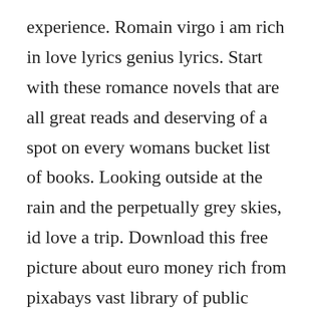experience. Romain virgo i am rich in love lyrics genius lyrics. Start with these romance novels that are all great reads and deserving of a spot on every womans bucket list of books. Looking outside at the rain and the perpetually grey skies, id love a trip. Download this free picture about euro money rich from pixabays vast library of public domain images and videos. Download this free vector about retro vans pack, and discover more than 6. Rich in love is the story of lucille odom, a seventeenyearold girl who